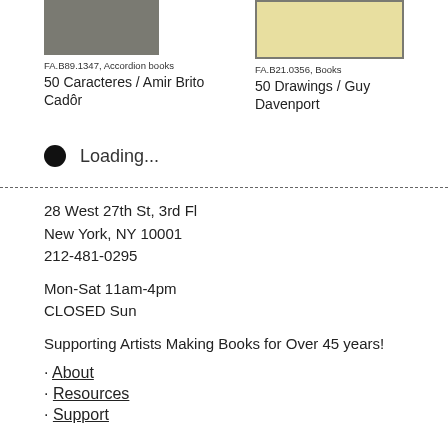[Figure (photo): Dark gray book cover thumbnail for 50 Caracteres / Amir Brito Cadôr]
FA.B89.1347, Accordion books
50 Caracteres / Amir Brito Cadôr
[Figure (photo): Light yellow book cover thumbnail with gray border for 50 Drawings / Guy Davenport]
FA.B21.0356, Books
50 Drawings / Guy Davenport
Loading...
28 West 27th St, 3rd Fl
New York, NY 10001
212-481-0295
Mon-Sat 11am-4pm
CLOSED Sun
Supporting Artists Making Books for Over 45 years!
About
Resources
Support